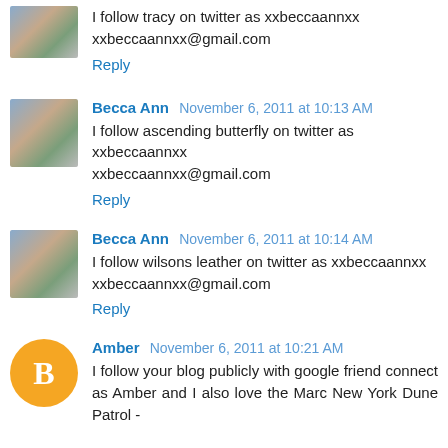I follow tracy on twitter as xxbeccaannxx
xxbeccaannxx@gmail.com
Reply
Becca Ann November 6, 2011 at 10:13 AM
I follow ascending butterfly on twitter as xxbeccaannxx
xxbeccaannxx@gmail.com
Reply
Becca Ann November 6, 2011 at 10:14 AM
I follow wilsons leather on twitter as xxbeccaannxx
xxbeccaannxx@gmail.com
Reply
Amber November 6, 2011 at 10:21 AM
I follow your blog publicly with google friend connect as Amber and I also love the Marc New York Dune Patrol -